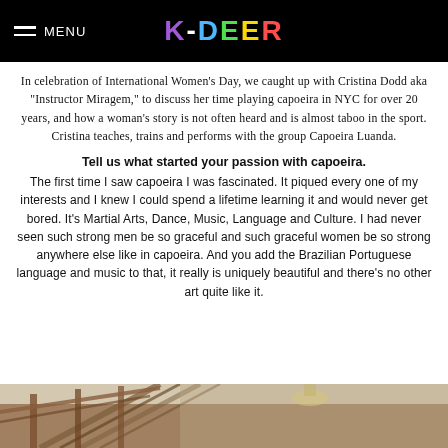K-DEER | MENU
In celebration of International Women's Day, we caught up with Cristina Dodd aka “Instructor Miragem,” to discuss her time playing capoeira in NYC for over 20 years, and how a woman's story is not often heard and is almost taboo in the sport. Cristina teaches, trains and performs with the group Capoeira Luanda.
Tell us what started your passion with capoeira.
The first time I saw capoeira I was fascinated. It piqued every one of my interests and I knew I could spend a lifetime learning it and would never get bored. It’s Martial Arts, Dance, Music, Language and Culture. I had never seen such strong men be so graceful and such graceful women be so strong anywhere else like in capoeira. And you add the Brazilian Portuguese language and music to that, it really is uniquely beautiful and there’s no other art quite like it.
[Figure (photo): Interior photo showing wooden railings/stairs and ceiling structure of what appears to be a capoeira studio or similar space]